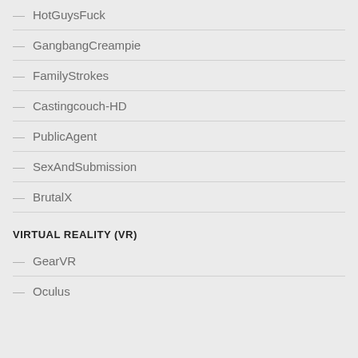— HotGuysFuck
— GangbangCreampie
— FamilyStrokes
— Castingcouch-HD
— PublicAgent
— SexAndSubmission
— BrutalX
VIRTUAL REALITY (VR)
— GearVR
— Oculus